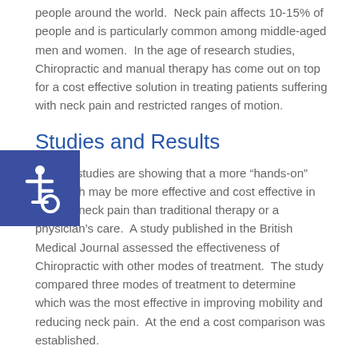people around the world.  Neck pain affects 10-15% of people and is particularly common among middle-aged men and women.  In the age of research studies, Chiropractic and manual therapy has come out on top for a cost effective solution in treating patients suffering with neck pain and restricted ranges of motion.
Studies and Results
Recent studies are showing that a more “hands-on” approach may be more effective and cost effective in treating neck pain than traditional therapy or a physician’s care.  A study published in the British Medical Journal assessed the effectiveness of Chiropractic with other modes of treatment.  The study compared three modes of treatment to determine which was the most effective in improving mobility and reducing neck pain.  At the end a cost comparison was established.
One hundred eighty-three patients who suffered with